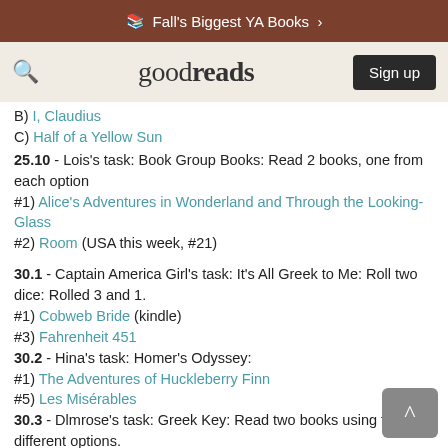Fall's Biggest YA Books >
goodreads  Sign up
B) I, Claudius
C) Half of a Yellow Sun
25.10 - Lois's task: Book Group Books: Read 2 books, one from each option
#1) Alice's Adventures in Wonderland and Through the Looking-Glass
#2) Room (USA this week, #21)
30.1 - Captain America Girl's task: It's All Greek to Me: Roll two dice: Rolled 3 and 1.
#1) Cobweb Bride (kindle)
#3) Fahrenheit 451
30.2 - Hina's task: Homer's Odyssey:
#1) The Adventures of Huckleberry Finn
#5) Les Misérables
30.3 - Dlmrose's task: Greek Key: Read two books using two different options.
#1) Ready Player One
#2) A Study in Scarlet  Page 2 #197